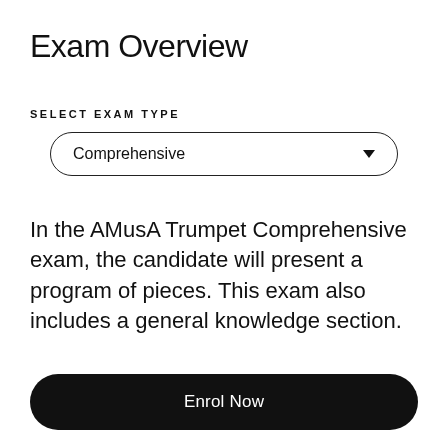Exam Overview
SELECT EXAM TYPE
[Figure (screenshot): Dropdown selector showing 'Comprehensive' with a downward arrow, styled as a pill-shaped outlined box]
In the AMusA Trumpet Comprehensive exam, the candidate will present a program of pieces. This exam also includes a general knowledge section.
Enrol Now